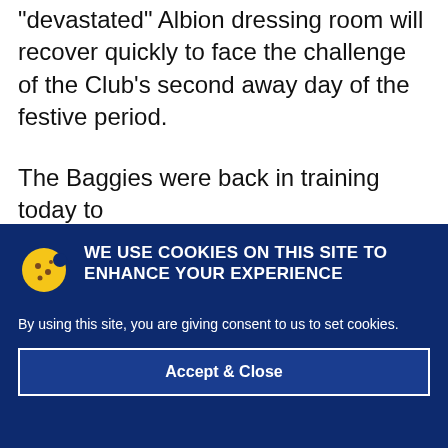“devastated” Albion dressing room will recover quickly to face the challenge of the Club’s second away day of the festive period.
The Baggies were back in training today to
WE USE COOKIES ON THIS SITE TO ENHANCE YOUR EXPERIENCE
By using this site, you are giving consent to us to set cookies.
Accept & Close